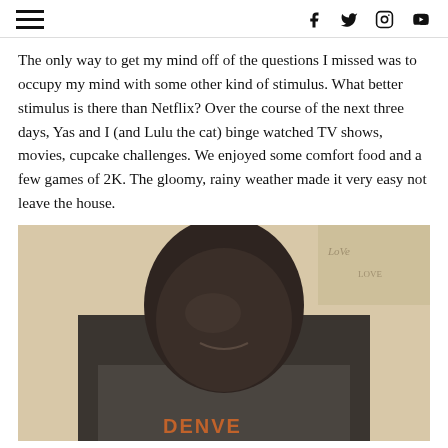Navigation and social icons: hamburger menu, Facebook, Twitter, Instagram, YouTube
The only way to get my mind off of the questions I missed was to occupy my mind with some other kind of stimulus. What better stimulus is there than Netflix? Over the course of the next three days, Yas and I (and Lulu the cat) binge watched TV shows, movies, cupcake challenges. We enjoyed some comfort food and a few games of 2K. The gloomy, rainy weather made it very easy not leave the house.
[Figure (photo): A young man looking downward and smiling, wearing a grey Denver shirt, with a light beige wall and decorative text in background]